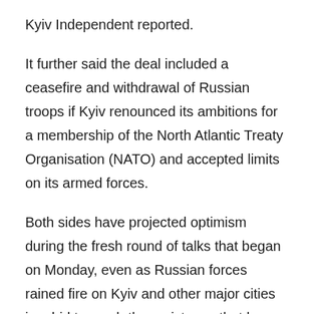Kyiv Independent reported.
It further said the deal included a ceasefire and withdrawal of Russian troops if Kyiv renounced its ambitions for a membership of the North Atlantic Treaty Organisation (NATO) and accepted limits on its armed forces.
Both sides have projected optimism during the fresh round of talks that began on Monday, even as Russian forces rained fire on Kyiv and other major cities in a bid to crush the resistance that has frustrated Kremlin hopes for a lightning victory.
n another development, the International Court of Justice in the Hague ordered Russia to suspend its military…